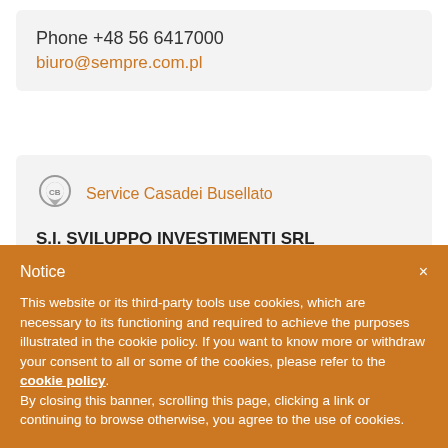Phone +48 56 6417000
biuro@sempre.com.pl
[Figure (other): Map pin icon with 'CB' initials]
Service Casadei Busellato
S.I. SVILUPPO INVESTIMENTI SRL
VIA ANTONELLO DA MESSINA
98040 VILLAFRANCA TIRRENA ME
Notice
This website or its third-party tools use cookies, which are necessary to its functioning and required to achieve the purposes illustrated in the cookie policy. If you want to know more or withdraw your consent to all or some of the cookies, please refer to the cookie policy.
By closing this banner, scrolling this page, clicking a link or continuing to browse otherwise, you agree to the use of cookies.